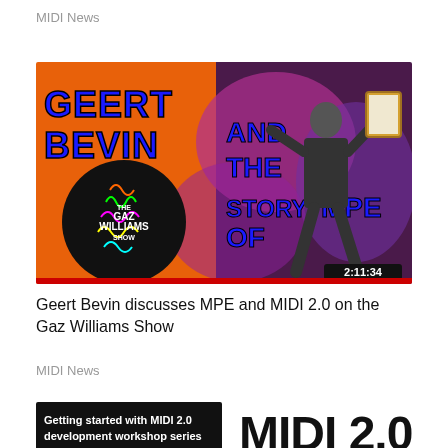MIDI News
[Figure (screenshot): YouTube thumbnail: Geert Bevin and The Story of MPE on The Gaz Williams Show. Orange background with large blue bold text reading GEERT BEVIN AND THE STORY OF MPE. A man in dark clothing holds up a framed document. A black circle logo reads THE GAZ WILLIAMS SHOW. Timestamp 2:11:34 shown in bottom right.]
Geert Bevin discusses MPE and MIDI 2.0 on the Gaz Williams Show
MIDI News
[Figure (screenshot): Partial YouTube thumbnail showing 'Getting started with MIDI 2.0 development workshop series' text on dark background, and partial large bold text MIDI 2.0 on the right side.]